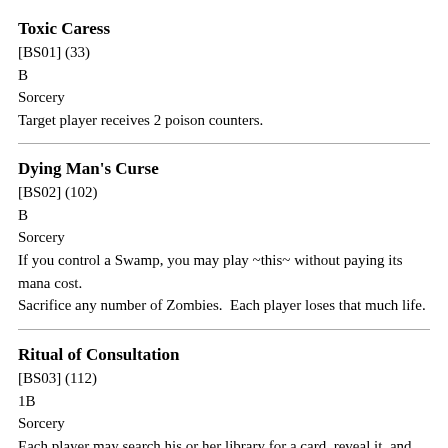Toxic Caress
[BS01] (33)
B
Sorcery
Target player receives 2 poison counters.
Dying Man's Curse
[BS02] (102)
B
Sorcery
If you control a Swamp, you may play ~this~ without paying its mana cost.
Sacrifice any number of Zombies.  Each player loses that much life.
Ritual of Consultation
[BS03] (112)
1B
Sorcery
Each player may search his or her library for a card, reveal it, and